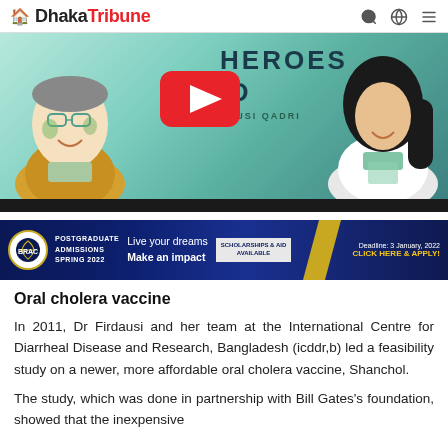Dhaka Tribune
[Figure (screenshot): Video thumbnail showing illustrated portraits of two people with text 'HEROES' and 'DR. FIRDAUSI QADRI' and a YouTube play button overlay]
[Figure (other): Advertisement banner for BRAC University Postgraduate Admissions Spring 2022 with text 'Live your dreams Make an impact', 'SCHOLARSHIPS & AID AVAILABLE', 'Deadline: 3 January, 2022', 'CLICK HERE & APPLY!']
Oral cholera vaccine
In 2011, Dr Firdausi and her team at the International Centre for Diarrheal Disease and Research, Bangladesh (icddr,b) led a feasibility study on a newer, more affordable oral cholera vaccine, Shanchol.
The study, which was done in partnership with Bill Gates's foundation, showed that the inexpensive